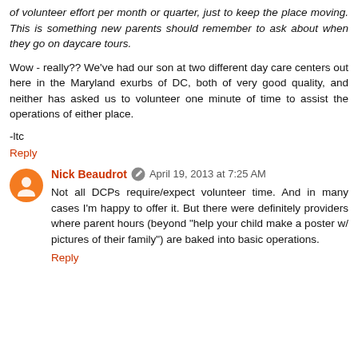of volunteer effort per month or quarter, just to keep the place moving. This is something new parents should remember to ask about when they go on daycare tours.
Wow - really?? We've had our son at two different day care centers out here in the Maryland exurbs of DC, both of very good quality, and neither has asked us to volunteer one minute of time to assist the operations of either place.
-ltc
Reply
Nick Beaudrot   April 19, 2013 at 7:25 AM
Not all DCPs require/expect volunteer time. And in many cases I'm happy to offer it. But there were definitely providers where parent hours (beyond "help your child make a poster w/ pictures of their family") are baked into basic operations.
Reply